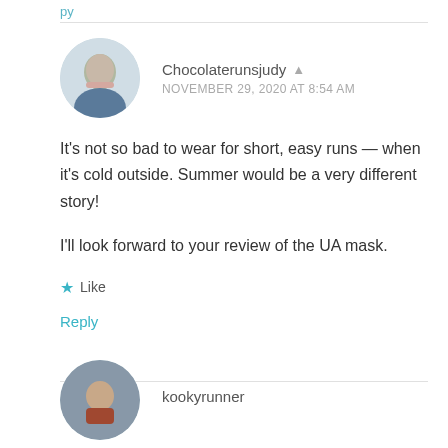Chocolaterunsjudy
NOVEMBER 29, 2020 AT 8:54 AM
It's not so bad to wear for short, easy runs — when it's cold outside. Summer would be a very different story!
I'll look forward to your review of the UA mask.
Like
Reply
kookyrunner